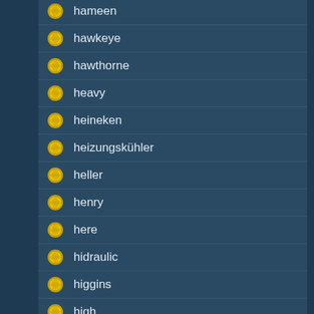hawkeye
hawthorne
heavy
heineken
heizungskühler
heller
henry
here
hidraulic
higgins
high
hinges
hiro
hmmm